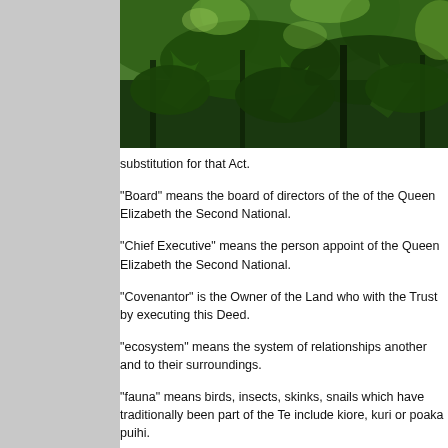[Figure (photo): Dense green forest / bush vegetation with ferns and trees, viewed from inside the forest looking up and outward.]
substitution for that Act.
"Board" means the board of directors of the of the Queen Elizabeth the Second National.
"Chief Executive" means the person appoint of the Queen Elizabeth the Second National.
"Covenantor" is the Owner of the Land who with the Trust by executing this Deed.
"ecosystem" means the system of relationships another and to their surroundings.
"fauna" means birds, insects, skinks, snails which have traditionally been part of the Te include kiore, kuri or poaka puihi.